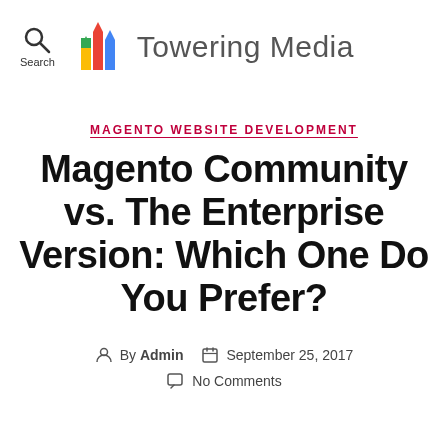Towering Media
MAGENTO WEBSITE DEVELOPMENT
Magento Community vs. The Enterprise Version: Which One Do You Prefer?
By Admin  September 25, 2017  No Comments